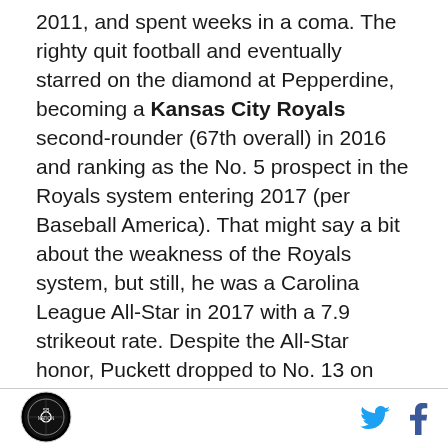2011, and spent weeks in a coma. The righty quit football and eventually starred on the diamond at Pepperdine, becoming a Kansas City Royals second-rounder (67th overall) in 2016 and ranking as the No. 5 prospect in the Royals system entering 2017 (per Baseball America). That might say a bit about the weakness of the Royals system, but still, he was a Carolina League All-Star in 2017 with a 7.9 strikeout rate. Despite the All-Star honor, Puckett dropped to No. 13 on K.C.'s prospect list by midseason (MLB Pipeline), perhaps explaining how he was acquired by the White Sox for the relatively low price of Melky Cabrera. Puckett's fastball can hit 94, and he has great control. His curve needs work. But cutting against the
[Figure (logo): Circular sports logo in black and white]